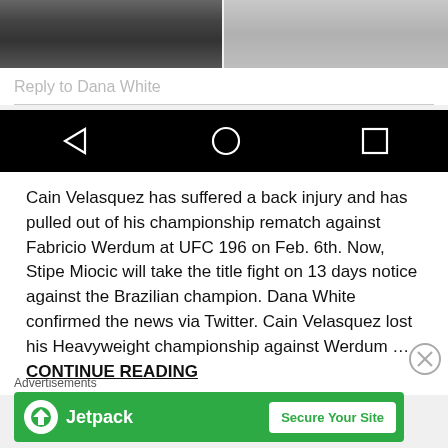[Figure (photo): Two black and white photos side by side, partially cropped at top of page]
Reply to Dana White
[Figure (screenshot): Android navigation bar with back, home, and recent apps buttons on black background]
Cain Velasquez has suffered a back injury and has pulled out of his championship rematch against Fabricio Werdum at UFC 196 on Feb. 6th. Now, Stipe Miocic will take the title fight on 13 days notice against the Brazilian champion. Dana White confirmed the news via Twitter. Cain Velasquez lost his Heavyweight championship against Werdum … CONTINUE READING
Advertisements
[Figure (screenshot): Jetpack advertisement banner with green background, Jetpack logo and 'Secure Your Site' button]